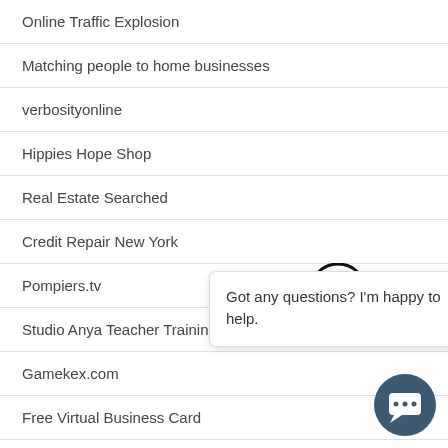Online Traffic Explosion
Matching people to home businesses
verbosityonline
Hippies Hope Shop
Real Estate Searched
Credit Repair New York
Pompiers.tv
Studio Anya Teacher Training Certification (Flatiron
Gamekex.com
Free Virtual Business Card
NYC MOVERS 212-400-8679
Superior Seating Hospitality
SalesTactics.org
IC Tool Suite – Everything You Need To Succeed Online.
[Figure (screenshot): Chat popup tooltip with text 'Got any questions? I'm happy to help.' and a circular chat button icon in bottom right]